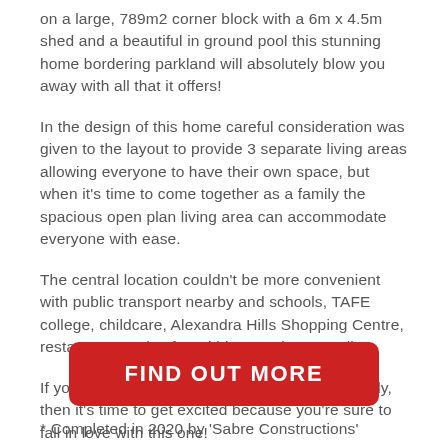on a large, 789m2 corner block with a 6m x 4.5m shed and a beautiful in ground pool this stunning home bordering parkland will absolutely blow you away with all that it offers!
In the design of this home careful consideration was given to the layout to provide 3 separate living areas allowing everyone to have their own space, but when it's time to come together as a family the spacious open plan living area can accommodate everyone with ease.
The central location couldn't be more convenient with public transport nearby and schools, TAFE college, childcare, Alexandra Hills Shopping Centre, restaurants and cafes within a 5 minute stroll!
If you're looking for a forever home for your family, then it's time to get excited because you're sure to fall in love with this one!
To summarise
[Figure (other): Red rounded rectangle button with white bold text reading FIND OUT MORE]
* Completed in 2020 by 'Sabre Constructions'